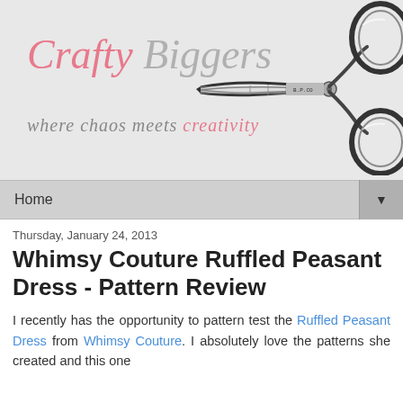[Figure (logo): Crafty Biggers blog header with scissors illustration. Text reads 'Crafty Biggers' in pink and grey italic script, with tagline 'where chaos meets creativity' below.]
Home ▼
Thursday, January 24, 2013
Whimsy Couture Ruffled Peasant Dress - Pattern Review
I recently has the opportunity to pattern test the Ruffled Peasant Dress from Whimsy Couture. I absolutely love the patterns she created and this one